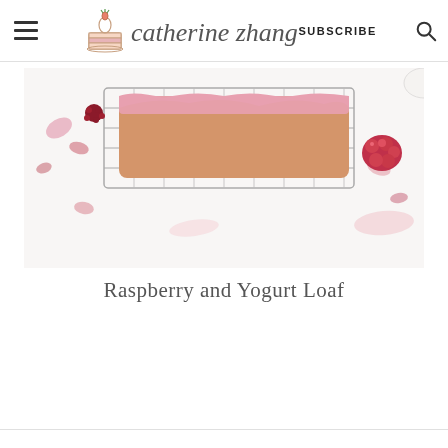catherine zhang | SUBSCRIBE
[Figure (photo): Top-down photo of a raspberry and yogurt loaf on a wire cooling rack, with scattered rose petals, dried raspberries, and pink frosting on a white background]
Raspberry and Yogurt Loaf